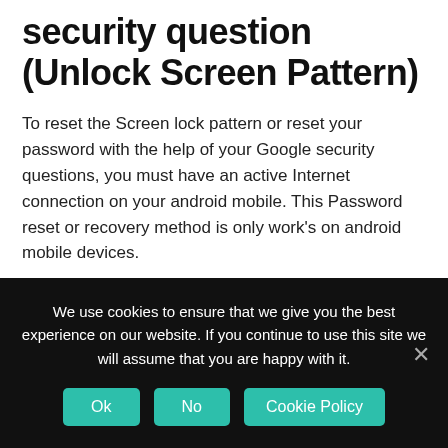security question (Unlock Screen Pattern)
To reset the Screen lock pattern or reset your password with the help of your Google security questions, you must have an active Internet connection on your android mobile. This Password reset or recovery method is only work's on android mobile devices.
After number of failed attempts done on your mobile phone to unlock the device, tap Forgot pattern option ?.
After That, Tap Answer question.
We use cookies to ensure that we give you the best experience on our website. If you continue to use this site we will assume that you are happy with it.